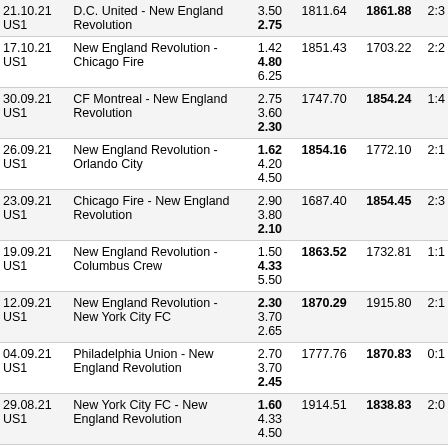| Date | Match | Odds | R1 | R2 | Score |
| --- | --- | --- | --- | --- | --- |
| 21.10.21
US1 | D.C. United - New England Revolution | 3.50
2.75 | 1811.64 | 1861.88 | 2:3 |
| 17.10.21
US1 | New England Revolution - Chicago Fire | 1.42
4.80
6.25 | 1851.43 | 1703.22 | 2:2 |
| 30.09.21
US1 | CF Montreal - New England Revolution | 2.75
3.60
2.30 | 1747.70 | 1854.24 | 1:4 |
| 26.09.21
US1 | New England Revolution - Orlando City | 1.62
4.20
4.50 | 1854.16 | 1772.10 | 2:1 |
| 23.09.21
US1 | Chicago Fire - New England Revolution | 2.90
3.80
2.10 | 1687.40 | 1854.45 | 2:3 |
| 19.09.21
US1 | New England Revolution - Columbus Crew | 1.50
4.33
5.50 | 1863.52 | 1732.81 | 1:1 |
| 12.09.21
US1 | New England Revolution - New York City FC | 2.30
3.70
2.65 | 1870.29 | 1915.80 | 2:1 |
| 04.09.21
US1 | Philadelphia Union - New England Revolution | 2.70
3.70
2.45 | 1777.76 | 1870.83 | 0:1 |
| 29.08.21
US1 | New York City FC - New England Revolution | 1.60
4.33
4.50 | 1914.51 | 1838.83 | 2:0 |
| 22.08.21
US1 | New England Revolution - FC Cincinnati | 1.45
4.75 | 1845.12 | 1668.09 | 4:1 |